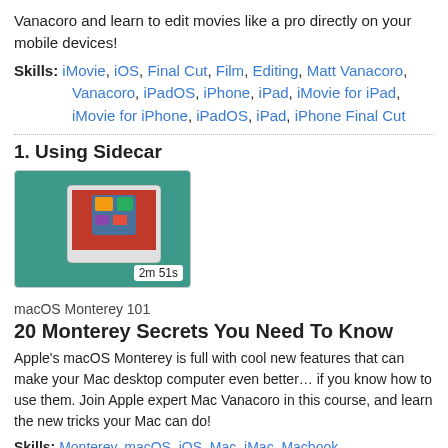Vanacoro and learn to edit movies like a pro directly on your mobile devices!
Skills: iMovie, iOS, Final Cut, Film, Editing, Matt Vanacoro, Vanacoro, iPadOS, iPhone, iPad, iMovie for iPad, iMovie for iPhone, iPadOS, iPad, iPhone Final Cut
1. Using Sidecar
[Figure (screenshot): Video thumbnail showing iPad/Mac Sidecar screen with duration badge 2m 51s]
macOS Monterey 101
20 Monterey Secrets You Need To Know
Apple's macOS Monterey is full with cool new features that can make your Mac desktop computer even better... if you know how to use them. Join Apple expert Mac Vanacoro in this course, and learn the new tricks your Mac can do!
Skills: Monterey, macOS, iOS, Mac, iMac, Macbook, Matt Vanacoro, macOS 12, Mac OS, Operating System, Apple, Sidecar, Second, Screen